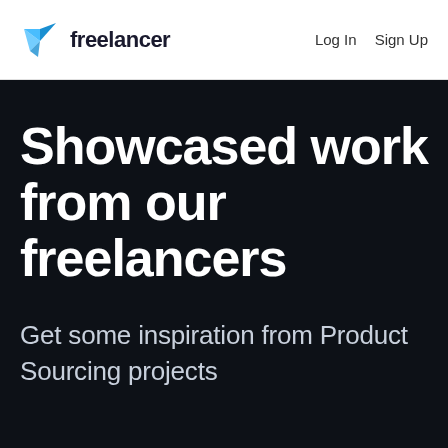freelancer  Log In  Sign Up
Showcased work from our freelancers
Get some inspiration from Product Sourcing projects